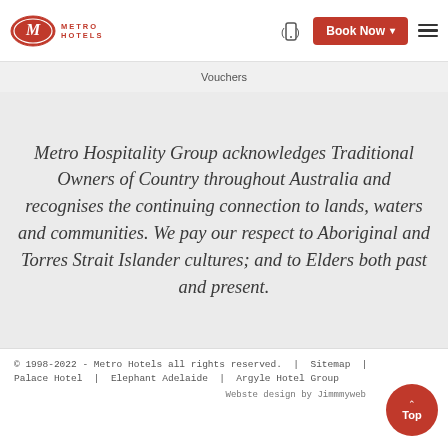[Figure (logo): Metro Hotels logo with red oval M icon and METRO HOTELS text in red]
Book Now ▾  ≡
Vouchers
Metro Hospitality Group acknowledges Traditional Owners of Country throughout Australia and recognises the continuing connection to lands, waters and communities. We pay our respect to Aboriginal and Torres Strait Islander cultures; and to Elders both past and present.
© 1998-2022 - Metro Hotels all rights reserved.  |  Sitemap  |  Palace Hotel  |  Elephant Adelaide  |  Argyle Hotel Group
Webste design by Jimmmyweb